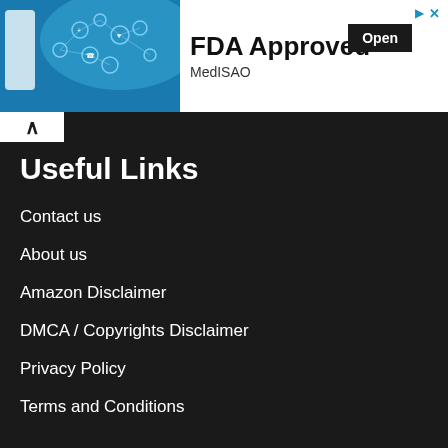[Figure (screenshot): Advertisement banner: medical/tech themed image on left with icons and a doctor figure, 'FDA Approved' title in bold, 'MedISAO' subtitle, 'Open' button, and close/arrow icons top right]
Useful Links
Contact us
About us
Amazon Disclaimer
DMCA / Copyrights Disclaimer
Privacy Policy
Terms and Conditions